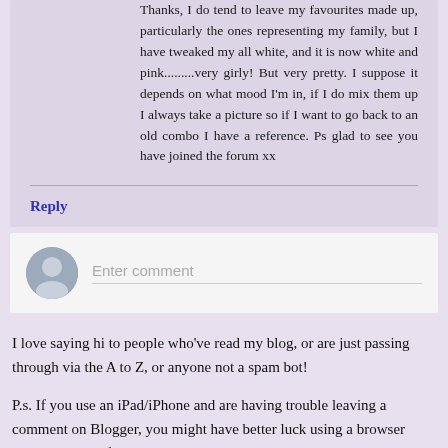Thanks, I do tend to leave my favourites made up, particularly the ones representing my family, but I have tweaked my all white, and it is now white and pink.........very girly! But very pretty. I suppose it depends on what mood I'm in, if I do mix them up I always take a picture so if I want to go back to an old combo I have a reference. Ps glad to see you have joined the forum xx
Reply
Enter comment
I love saying hi to people who've read my blog, or are just passing through via the A to Z, or anyone not a spam bot!
P.s. If you use an iPad/iPhone and are having trouble leaving a comment on Blogger, you might have better luck using a browser that's not the default iPad one...